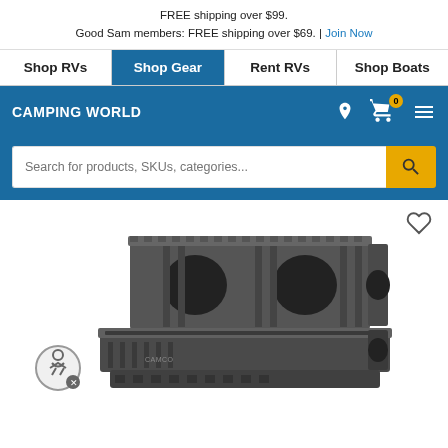FREE shipping over $99.
Good Sam members: FREE shipping over $69. | Join Now
Shop RVs | Shop Gear | Rent RVs | Shop Boats
CAMPING WORLD
[Figure (screenshot): Camping World e-commerce website header with navigation, search bar, and product image of a folding step stool/platform product in dark grey plastic]